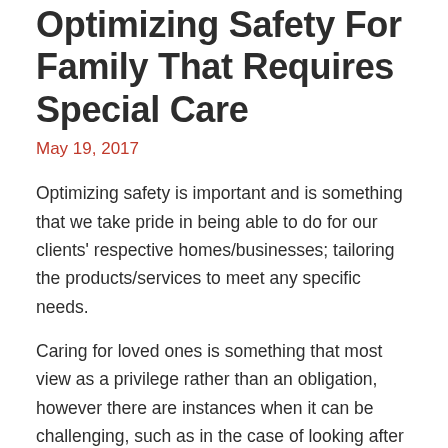Optimizing Safety For Family That Requires Special Care
May 19, 2017
Optimizing safety is important and is something that we take pride in being able to do for our clients' respective homes/businesses; tailoring the products/services to meet any specific needs.
Caring for loved ones is something that most view as a privilege rather than an obligation, however there are instances when it can be challenging, such as in the case of looking after those with special needs. Along with the love and patience that everyone deserves (and needs) here are a few safety tips that could help...